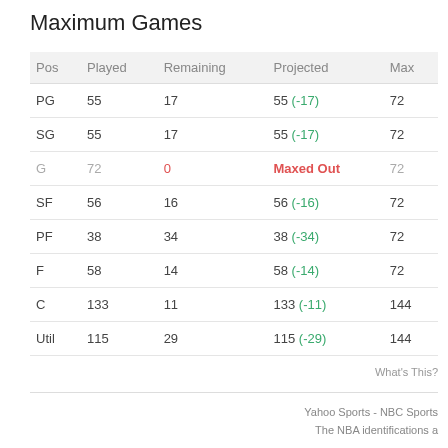Maximum Games
| Pos | Played | Remaining | Projected | Max |
| --- | --- | --- | --- | --- |
| PG | 55 | 17 | 55 (-17) | 72 |
| SG | 55 | 17 | 55 (-17) | 72 |
| G | 72 | 0 | Maxed Out | 72 |
| SF | 56 | 16 | 56 (-16) | 72 |
| PF | 38 | 34 | 38 (-34) | 72 |
| F | 58 | 14 | 58 (-14) | 72 |
| C | 133 | 11 | 133 (-11) | 144 |
| Util | 115 | 29 | 115 (-29) | 144 |
What's This?
Yahoo Sports - NBC Sports
The NBA identifications a